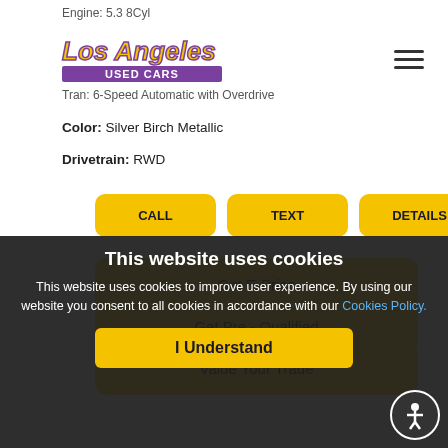Engine: 5.3 8Cyl
[Figure (logo): Los Angeles Used Cars logo with yellow italic text and purple banner]
Tran: 6-Speed Automatic with Overdrive
Color: Silver Birch Metallic
Drivetrain: RWD
CALL
TEXT
DETAILS
Get E-Price
Get Pre - Qualified
Value Your Trade
This website uses cookies
This website uses cookies to improve user experience. By using our website you consent to all cookies in accordance with our Cookies Policy.
I Understand